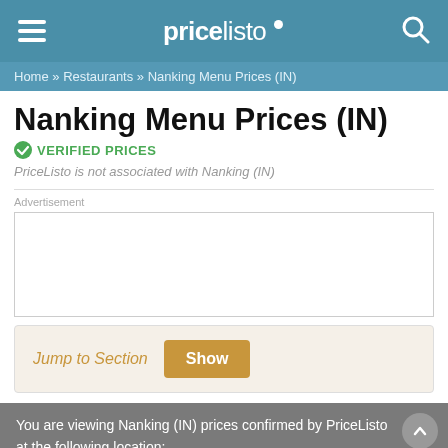pricelisto
Home » Restaurants » Nanking Menu Prices (IN)
Nanking Menu Prices (IN)
VERIFIED PRICES
PriceListo is not associated with Nanking (IN)
Advertisement
Jump to Section   Show
You are viewing Nanking (IN) prices confirmed by PriceListo at the following location: